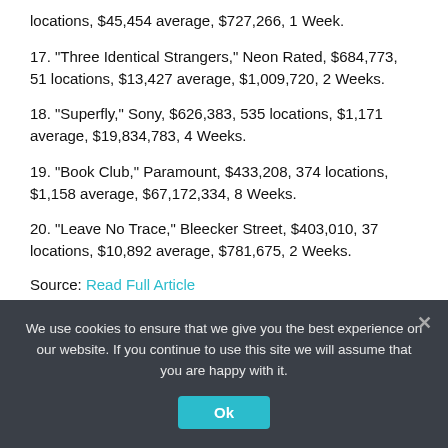locations, $45,454 average, $727,266, 1 Week.
17. "Three Identical Strangers," Neon Rated, $684,773, 51 locations, $13,427 average, $1,009,720, 2 Weeks.
18. "Superfly," Sony, $626,383, 535 locations, $1,171 average, $19,834,783, 4 Weeks.
19. "Book Club," Paramount, $433,208, 374 locations, $1,158 average, $67,172,334, 8 Weeks.
20. "Leave No Trace," Bleecker Street, $403,010, 37 locations, $10,892 average, $781,675, 2 Weeks.
Source: Read Full Article
We use cookies to ensure that we give you the best experience on our website. If you continue to use this site we will assume that you are happy with it.